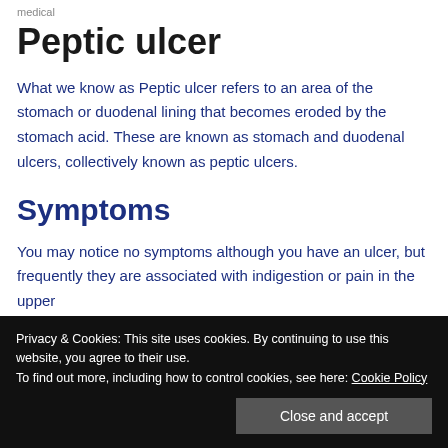medical
Peptic ulcer
What we know as Peptic ulcer refers to an area of the stomach or duodenal lining that becomes eroded by the stomach acid. These are known as stomach and duodenal ulcers, collectively known as peptic ulcers.
Symptoms
You may notice no symptoms although you have an ulcer, but frequently they are associated with indigestion or pain in the upper
perceived elsewhere.
Privacy & Cookies: This site uses cookies. By continuing to use this website, you agree to their use.
To find out more, including how to control cookies, see here: Cookie Policy
Close and accept